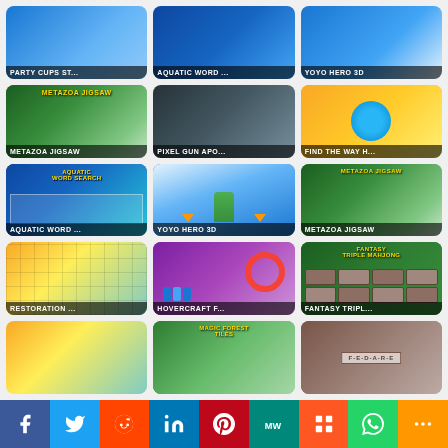[Figure (screenshot): Game thumbnail grid showing party/casual games including Party Cups St..., Aquatic Word ..., Yoyo Hero 3D, Metazoa Jigsaw, Pixel Gun Apo..., Find the Way H..., Aquatic Word ..., Yoyo Hero 3D, Metazoa Jigsaw, Restoration ..., Hovercraft F..., Fantasy Tripl..., and three partially visible bottom row games]
f | Twitter | Reddit | in | Pinterest | MW | Mix | WhatsApp | More